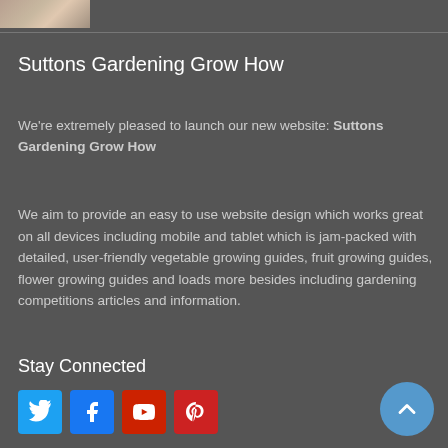[Figure (photo): Small cropped photo of a plant or food item in top-left corner]
Suttons Gardening Grow How
We're extremely pleased to launch our new website: Suttons Gardening Grow How
We aim to provide an easy to use website design which works great on all devices including mobile and tablet which is jam-packed with detailed, user-friendly vegetable growing guides, fruit growing guides, flower growing guides and loads more besides including gardening competitions articles and information.
Stay Connected
[Figure (illustration): Social media icons: Twitter (blue bird), Facebook (blue f), YouTube (red), Pinterest (red p)]